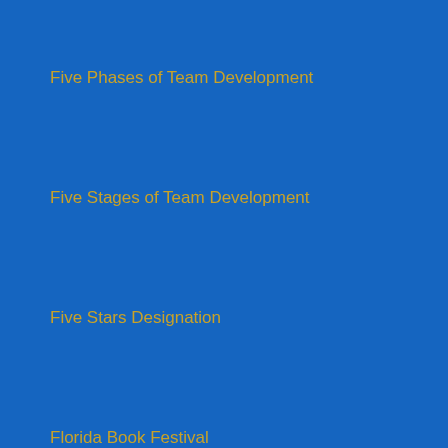Five Phases of Team Development
Five Stages of Team Development
Five Stars Designation
Florida Book Festival
Florida Suncoast Chapter of the PMI
Florida Suncoast Chapter of the Project Management Institute
Focus
Forbes
Ford